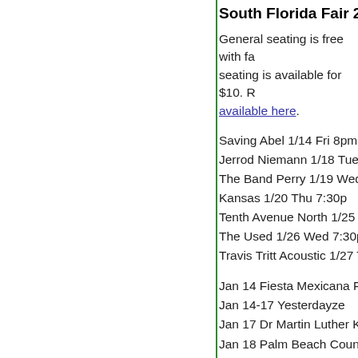South Florida Fair 2011 Sho
General seating is free with fa seating is available for $10. R available here.
Saving Abel 1/14 Fri 8pm
Jerrod Niemann 1/18 Tue 7:3
The Band Perry 1/19 Wed 7:3
Kansas 1/20 Thu 7:30p
Tenth Avenue North 1/25 Tue
The Used 1/26 Wed 7:30p
Travis Tritt Acoustic 1/27 Thu
Jan 14 Fiesta Mexicana Frida
Jan 14-17 Yesterdayze
Jan 17 Dr Martin Luther King
Jan 18 Palm Beach County Ch
Jan 19 Ben Grisafi & The Sal Fame Orchestra
Jan 20-23 Starz of the Future